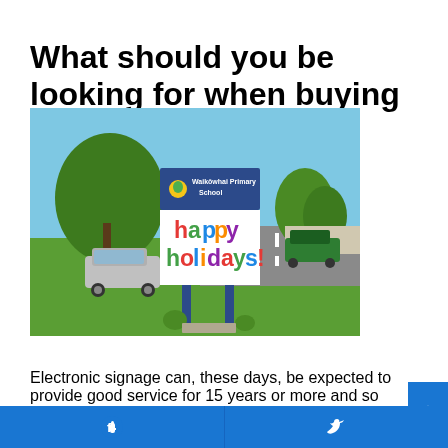What should you be looking for when buying electronic signage?
[Figure (photo): Outdoor electronic sign for Waikōwhai Primary School displaying 'happy holidays!' in colorful letters, mounted on blue poles on a grassy lawn beside a road, with trees and parked cars visible in the background.]
Electronic signage can, these days, be expected to provide good service for 15 years or more and so selecting the right sign supplier is much more important than selecting a supplier of products with
Facebook | Twitter